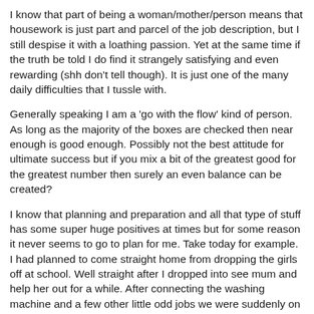I know that part of being a woman/mother/person means that housework is just part and parcel of the job description, but I still despise it with a loathing passion.  Yet at the same time if the truth be told I do find it strangely satisfying and even rewarding (shh don't tell though).  It is just one of the many daily difficulties that I tussle with.
Generally speaking I am a 'go with the flow' kind of person.  As long as the majority of the boxes are checked then near enough is good enough.  Possibly not the best attitude for ultimate success but if you mix a bit of the greatest good for the greatest number then surely an even balance can be created?
I know that planning and preparation and all that type of stuff has some super huge positives at times but for some reason it never seems to go to plan for me.  Take today for example.  I had planned to come straight home from dropping the girls off at school.  Well straight after I dropped into see mum and help her out for a while.  After connecting the washing machine and a few other little odd jobs we were suddenly on our way to a shopping expedition.